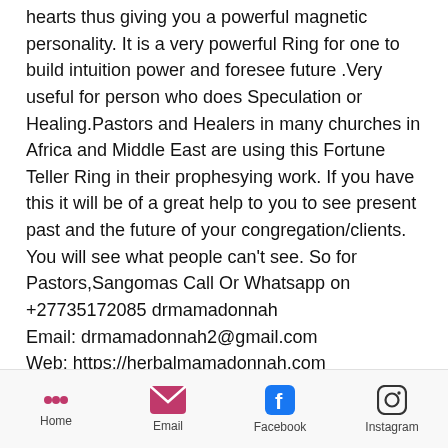hearts thus giving you a powerful magnetic personality. It is a very powerful Ring for one to build intuition power and foresee future .Very useful for person who does Speculation or Healing.Pastors and Healers in many churches in Africa and Middle East are using this Fortune Teller Ring in their prophesying work. If you have this it will be of a great help to you to see present past and the future of your congregation/clients. You will see what people can't see. So for Pastors,Sangomas Call Or Whatsapp on +27735172085 drmamadonnah Email: drmamadonnah2@gmail.com Web: https://herbalmamadonnah.com Web : https://drmamadonnah.jimdosite.com Web : http://magic-rings-for-
Home   Email   Facebook   Instagram